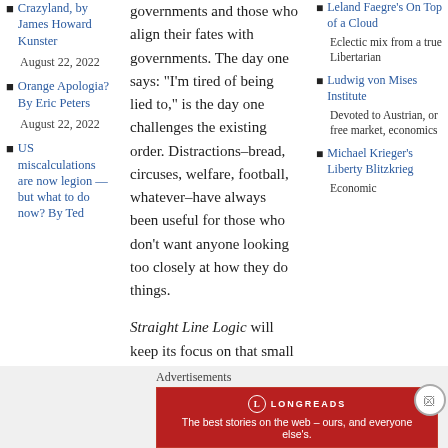Crazyland, by James Howard Kunster
August 22, 2022
Orange Apologia? By Eric Peters
August 22, 2022
US miscalculations are now legion — but what to do now? By Ted
governments and those who align their fates with governments. The day one says: “I’m tired of being lied to,” is the day one challenges the existing order. Distractions–bread, circuses, welfare, football, whatever–have always been useful for those who don’t want anyone looking too closely at how they do things.
Straight Line Logic will keep its focus on that small percentage of original, incisive, logical work of importance in economics, politics, philosophy, history, and culture. It is
Leland Faegre’s On Top of a Cloud
Eclectic mix from a true Libertarian
Ludwig von Mises Institute
Devoted to Austrian, or free market, economics
Michael Krieger’s Liberty Blitzkrieg
Economic
Advertisements
[Figure (other): Longreads advertisement banner: red background with Longreads logo and text 'The best stories on the web – ours, and everyone else’s.']